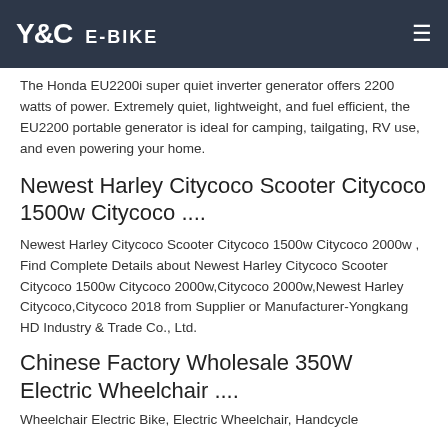Y&C E-BIKE
The Honda EU2200i super quiet inverter generator offers 2200 watts of power. Extremely quiet, lightweight, and fuel efficient, the EU2200 portable generator is ideal for camping, tailgating, RV use, and even powering your home.
Newest Harley Citycoco Scooter Citycoco 1500w Citycoco ....
Newest Harley Citycoco Scooter Citycoco 1500w Citycoco 2000w , Find Complete Details about Newest Harley Citycoco Scooter Citycoco 1500w Citycoco 2000w,Citycoco 2000w,Newest Harley Citycoco,Citycoco 2018 from Supplier or Manufacturer-Yongkang HD Industry & Trade Co., Ltd.
Chinese Factory Wholesale 350W Electric Wheelchair ....
Wheelchair Electric Bike, Electric Wheelchair, Handcycle